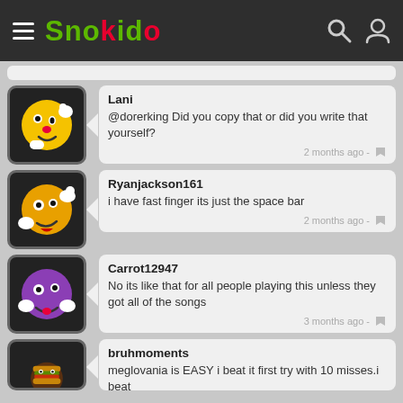Snokido
Lani
@dorerking Did you copy that or did you write that yourself?
2 months ago
Ryanjackson161
i have fast finger its just the space bar
2 months ago
Carrot12947
No its like that for all people playing this unless they got all of the songs
3 months ago
bruhmoments
meglovania is EASY i beat it first try with 10 misses.i beat